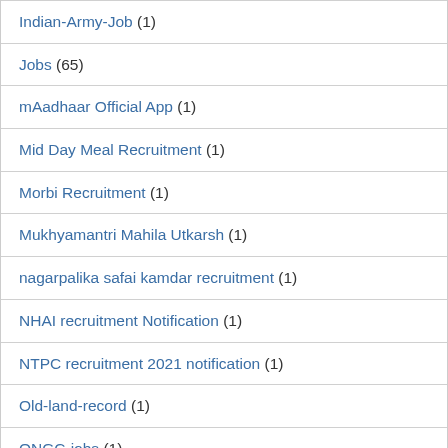Indian-Army-Job (1)
Jobs (65)
mAadhaar Official App (1)
Mid Day Meal Recruitment (1)
Morbi Recruitment (1)
Mukhyamantri Mahila Utkarsh (1)
nagarpalika safai kamdar recruitment (1)
NHAI recruitment Notification (1)
NTPC recruitment 2021 notification (1)
Old-land-record (1)
ONGC-jobs (1)
Online-Map-Gujarat (1)
Online-service (3)
Parivahan (2)
pnb-recruitment-2021, (2)